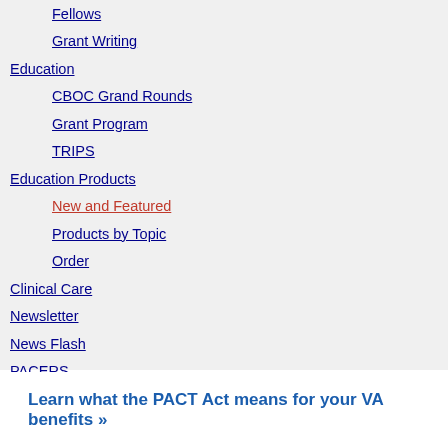Fellows
Grant Writing
Education
CBOC Grand Rounds
Grant Program
TRIPS
Education Products
New and Featured
Products by Topic
Order
Clinical Care
Newsletter
News Flash
PACERS
Diversity (DEI)
Black Veterans
Older Veterans
Women Veterans
Veterans and Families
Learn what the PACT Act means for your VA benefits »»